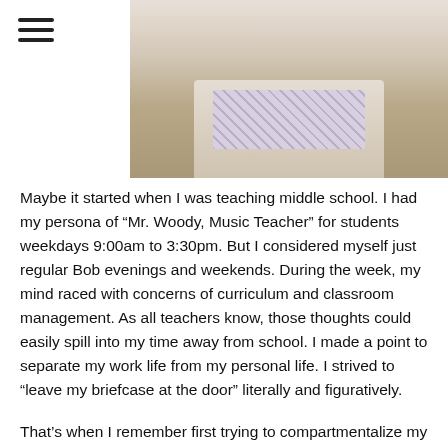[Figure (photo): Partial photo of a person wearing a blazer and collared shirt, cropped at the chest/shoulders area, light background.]
Maybe it started when I was teaching middle school. I had my persona of “Mr. Woody, Music Teacher” for students weekdays 9:00am to 3:30pm. But I considered myself just regular Bob evenings and weekends. During the week, my mind raced with concerns of curriculum and classroom management. As all teachers know, those thoughts could easily spill into my time away from school. I made a point to separate my work life from my personal life. I strived to “leave my briefcase at the door” literally and figuratively.
That’s when I remember first trying to compartmentalize my life, but in all likelihood, the practice began years before I was a working professional. Like everyone else, I grew up filling different roles with the different social groups I was a part of. As a teenager, I wasn’t exactly the same person around my parents and teachers as I was with my friends! Perhaps it’s because students tend to